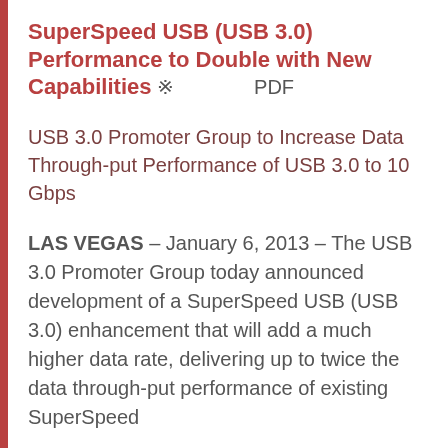SuperSpeed USB (USB 3.0) Performance to Double with New Capabilities ※　　　PDF
USB 3.0 Promoter Group to Increase Data Through-put Performance of USB 3.0 to 10 Gbps
LAS VEGAS – January 6, 2013 – The USB 3.0 Promoter Group today announced development of a SuperSpeed USB (USB 3.0) enhancement that will add a much higher data rate, delivering up to twice the data through-put performance of existing SuperSpeed